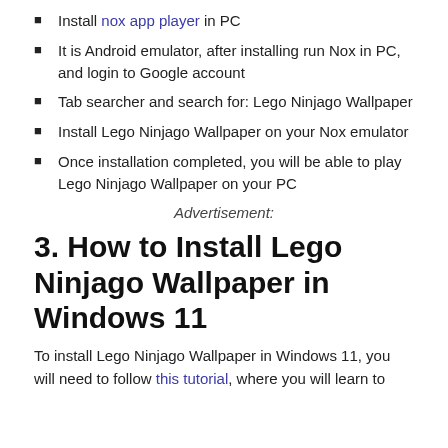Install nox app player in PC
It is Android emulator, after installing run Nox in PC, and login to Google account
Tab searcher and search for: Lego Ninjago Wallpaper
Install Lego Ninjago Wallpaper on your Nox emulator
Once installation completed, you will be able to play Lego Ninjago Wallpaper on your PC
Advertisement:
3. How to Install Lego Ninjago Wallpaper in Windows 11
To install Lego Ninjago Wallpaper in Windows 11, you will need to follow this tutorial, where you will learn to